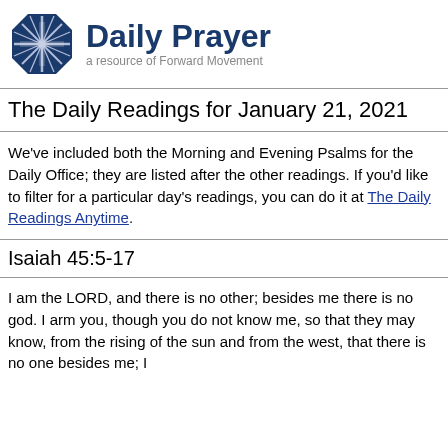[Figure (logo): Daily Prayer logo with cross icon and text 'Daily Prayer - a resource of Forward Movement']
The Daily Readings for January 21, 2021
We've included both the Morning and Evening Psalms for the Daily Office; they are listed after the other readings. If you'd like to filter for a particular day's readings, you can do it at The Daily Readings Anytime.
Isaiah 45:5-17
I am the LORD, and there is no other; besides me there is no god. I arm you, though you do not know me, so that they may know, from the rising of the sun and from the west, that there is no one besides me; I